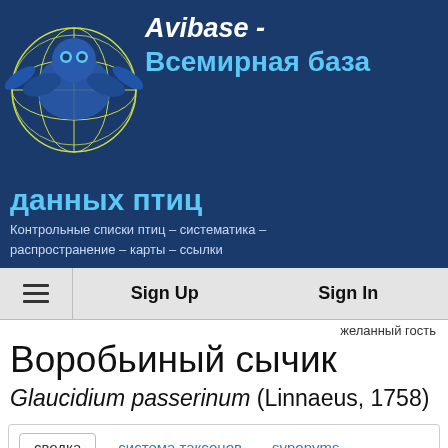[Figure (logo): Avibase logo banner with globe and bird icon on dark blue background, showing title 'Avibase - Всемирная база данных птиц' with subtitle 'Контрольные списки птиц – систематика – распространение – карты – ссылки']
≡   Sign Up   Sign In
желанный гость
Воробьиный сычик
Glaucidium passerinum (Linnaeus, 1758)
| сводка | система таксонов | synonyms |
| карта | life history | eBird | Wikipedia |